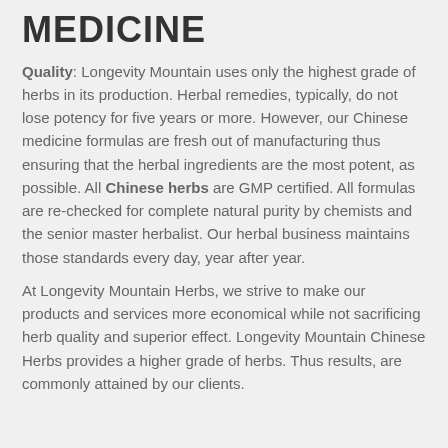MEDICINE
Quality: Longevity Mountain uses only the highest grade of herbs in its production. Herbal remedies, typically, do not lose potency for five years or more. However, our Chinese medicine formulas are fresh out of manufacturing thus ensuring that the herbal ingredients are the most potent, as possible. All Chinese herbs are GMP certified. All formulas are re-checked for complete natural purity by chemists and the senior master herbalist. Our herbal business maintains those standards every day, year after year.
At Longevity Mountain Herbs, we strive to make our products and services more economical while not sacrificing herb quality and superior effect. Longevity Mountain Chinese Herbs provides a higher grade of herbs. Thus results, are commonly attained by our clients.